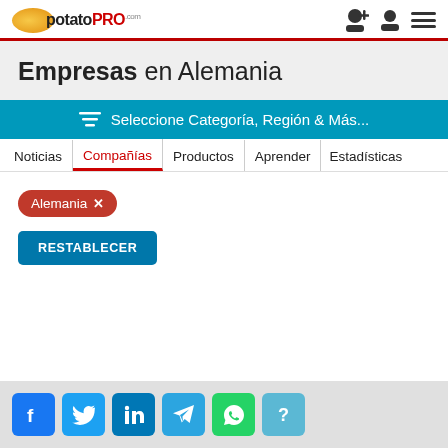potatoPRO - Empresas en Alemania
Empresas en Alemania
Seleccione Categoría, Región & Más...
Noticias | Compañías | Productos | Aprender | Estadísticas
Alemania ✕
RESTABLECER
Facebook Twitter LinkedIn Telegram WhatsApp Help